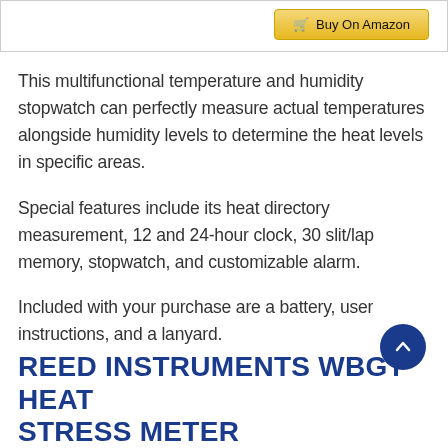[Figure (screenshot): Top portion of a product page with a 'Buy On Amazon' button (gold/yellow background with shopping cart icon)]
This multifunctional temperature and humidity stopwatch can perfectly measure actual temperatures alongside humidity levels to determine the heat levels in specific areas.
Special features include its heat directory measurement, 12 and 24-hour clock, 30 slit/lap memory, stopwatch, and customizable alarm.
Included with your purchase are a battery, user instructions, and a lanyard.
REED INSTRUMENTS WBGT HEAT STRESS METER